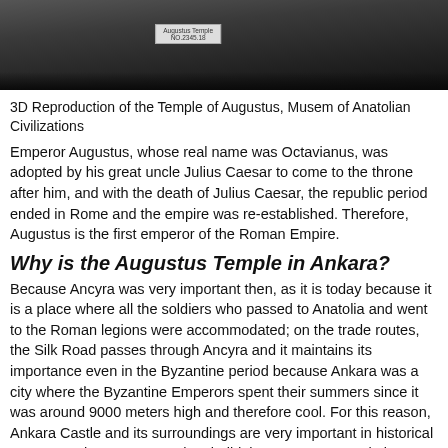[Figure (photo): Photo of a 3D reproduction model of the Temple of Augustus, displayed in a museum setting with a label placard in front of it.]
3D Reproduction of the Temple of Augustus, Musem of Anatolian Civilizations
Emperor Augustus, whose real name was Octavianus, was adopted by his great uncle Julius Caesar to come to the throne after him, and with the death of Julius Caesar, the republic period ended in Rome and the empire was re-established. Therefore, Augustus is the first emperor of the Roman Empire.
Why is the Augustus Temple in Ankara?
Because Ancyra was very important then, as it is today because it is a place where all the soldiers who passed to Anatolia and went to the Roman legions were accommodated; on the trade routes, the Silk Road passes through Ancyra and it maintains its importance even in the Byzantine period because Ankara was a city where the Byzantine Emperors spent their summers since it was around 9000 meters high and therefore cool. For this reason, Ankara Castle and its surroundings are very important in historical terms. For these reasons, they build the Augustus Temple in Ankara between 25-20 BC to show their loyalties to Augustus. With the Hac...